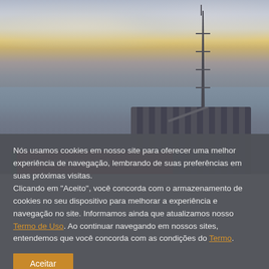[Figure (photo): Offshore oil drilling rig platform photographed against a dramatic sunset/sunrise sky over the ocean. The rig structure with tower/derrick is visible in the center-right. Moody sky with clouds and warm light on the horizon.]
MEIO AMBIENTE E SEG...
Nós usamos cookies em nosso site para oferecer uma melhor experiência de navegação, lembrando de suas preferências em suas próximas visitas.
Clicando em "Aceito", você concorda com o armazenamento de cookies no seu dispositivo para melhorar a experiência e navegação no site. Informamos ainda que atualizamos nosso Termo de Uso. Ao continuar navegando em nossos sites, entendemos que você concorda com as condições do Termo.
Aceitar